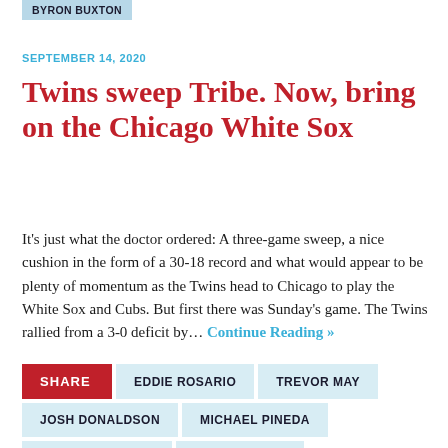BYRON BUXTON
SEPTEMBER 14, 2020
Twins sweep Tribe. Now, bring on the Chicago White Sox
It's just what the doctor ordered: A three-game sweep, a nice cushion in the form of a 30-18 record and what would appear to be plenty of momentum as the Twins head to Chicago to play the White Sox and Cubs. But first there was Sunday's game. The Twins rallied from a 3-0 deficit by... Continue Reading »
SHARE   EDDIE ROSARIO   TREVOR MAY
JOSH DONALDSON   MICHAEL PINEDA
ROCCO BALDELLI   NELSON CRUZ